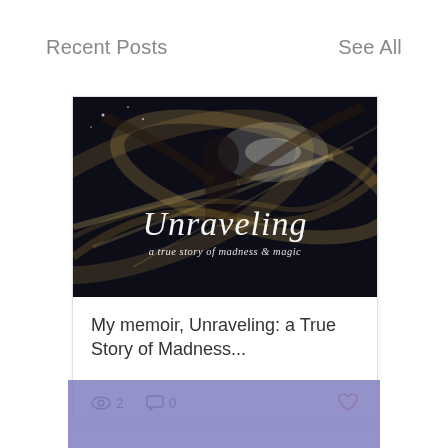Recent Posts
See All
[Figure (photo): Book cover for 'Unraveling: a true story of madness & magic' showing a blurred figure in motion with light streaks on a dark background, with script title text overlay.]
My memoir, Unraveling: a True Story of Madness...
2 views, 0 comments, heart/like icon